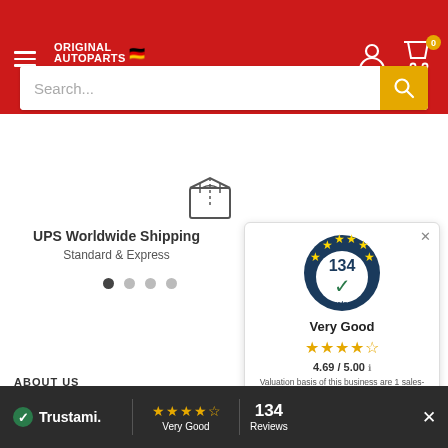[Figure (screenshot): Website header with red background, hamburger menu, Original Autoparts logo with German flag, user and cart icons]
[Figure (screenshot): Search bar with placeholder 'Search...' and yellow search button]
[Figure (illustration): Box/package icon for UPS Worldwide Shipping]
UPS Worldwide Shipping
Standard & Express
[Figure (infographic): Trustami popup widget showing 134 reviews, Very Good rating, 4.69/5.00 stars]
EUR / EN
ABOUT US
[Figure (infographic): Trustami bottom bar showing logo, 4.5 stars, Very Good, 134 Reviews]